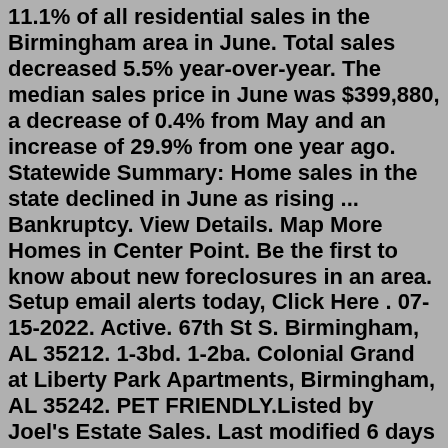11.1% of all residential sales in the Birmingham area in June. Total sales decreased 5.5% year-over-year. The median sales price in June was $399,880, a decrease of 0.4% from May and an increase of 29.9% from one year ago. Statewide Summary: Home sales in the state declined in June as rising ... Bankruptcy. View Details. Map More Homes in Center Point. Be the first to know about new foreclosures in an area. Setup email alerts today, Click Here . 07-15-2022. Active. 67th St S. Birmingham, AL 35212. 1-3bd. 1-2ba. Colonial Grand at Liberty Park Apartments, Birmingham, AL 35242. PET FRIENDLY.Listed by Joel's Estate Sales. Last modified 6 days ago. 106 Pictures. Birmingham, AL 35242. Less than 3 miles away. Jul 22, 23. 9am to 2pm (Fri) 3. BIRMINGHAM ESTATE SALES is in BIRMINGHAM for 2 days!Jul 20, 2022 · New Construction: The 188 new homes sold represent 11.1% of all residential sales in the Birmingham area in June. Total sales decreased 5.5% year-over-year. The median sales price in June was $399,880, a decrease of 0.4% from May and an